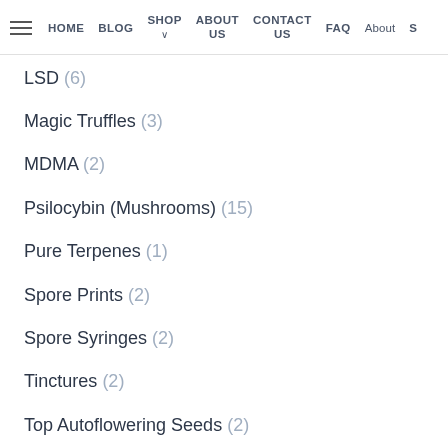HOME  BLOG  SHOP  ABOUT US  CONTACT US  FAQ  About  S
LSD (6)
Magic Truffles (3)
MDMA (2)
Psilocybin (Mushrooms) (15)
Pure Terpenes (1)
Spore Prints (2)
Spore Syringes (2)
Tinctures (2)
Top Autoflowering Seeds (2)
Top CBD Seeds (2)